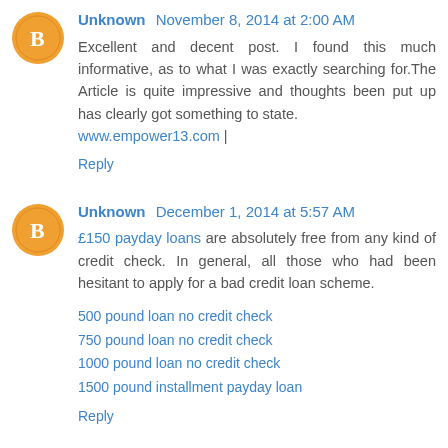Unknown November 8, 2014 at 2:00 AM
Excellent and decent post. I found this much informative, as to what I was exactly searching for.The Article is quite impressive and thoughts been put up has clearly got something to state.
www.empower13.com |
Reply
Unknown December 1, 2014 at 5:57 AM
£150 payday loans are absolutely free from any kind of credit check. In general, all those who had been hesitant to apply for a bad credit loan scheme.
500 pound loan no credit check
750 pound loan no credit check
1000 pound loan no credit check
1500 pound installment payday loan
Reply